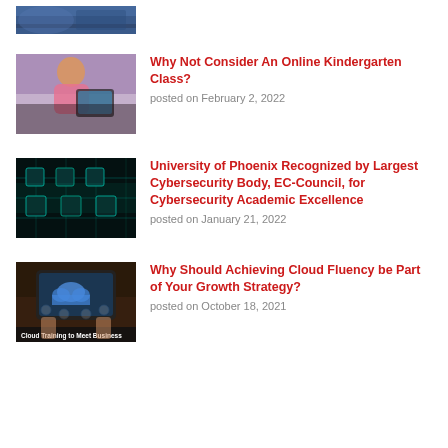[Figure (photo): Partial photo cropped at top of page, blue tones, appears to be a person at a computer]
[Figure (photo): Young child smiling, using a tablet device, pink shirt]
Why Not Consider An Online Kindergarten Class?
posted on February 2, 2022
[Figure (photo): Circuit board with glowing teal/cyan digital overlay]
University of Phoenix Recognized by Largest Cybersecurity Body, EC-Council, for Cybersecurity Academic Excellence
posted on January 21, 2022
[Figure (photo): Hands holding a tablet showing cloud computing icons, caption 'Cloud Training to Meet Business']
Why Should Achieving Cloud Fluency be Part of Your Growth Strategy?
posted on October 18, 2021